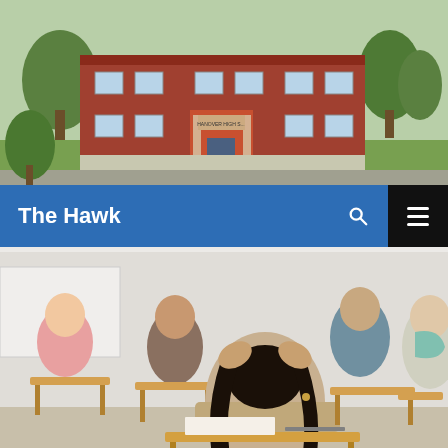[Figure (photo): Exterior photo of Hanover High School, a red brick building with trees and green lawn]
The Hawk
[Figure (photo): Students sitting at individual desks taking an exam in a classroom; the central student, a young woman with dark hair, has her head in her hands looking stressed]
NEWS, OPINION
Follow